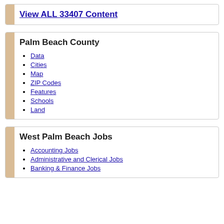View ALL 33407 Content
Palm Beach County
Data
Cities
Map
ZIP Codes
Features
Schools
Land
West Palm Beach Jobs
Accounting Jobs
Administrative and Clerical Jobs
Banking & Finance Jobs